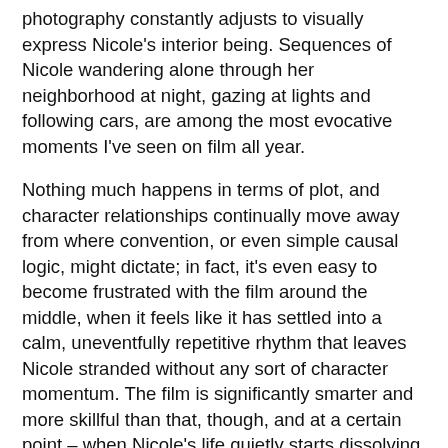photography constantly adjusts to visually express Nicole's interior being. Sequences of Nicole wandering alone through her neighborhood at night, gazing at lights and following cars, are among the most evocative moments I've seen on film all year.
Nothing much happens in terms of plot, and character relationships continually move away from where convention, or even simple causal logic, might dictate; in fact, it's even easy to become frustrated with the film around the middle, when it feels like it has settled into a calm, uneventfully repetitive rhythm that leaves Nicole stranded without any sort of character momentum. The film is significantly smarter and more skillful than that, though, and at a certain point – when Nicole's life quietly starts dissolving around her, perhaps – I found I had unknowingly grown deeply invested in Nicole, feeling an intense empathy with her and hoping strongly that she might find a path towards happiness, or at least some sort of lifeline away from her isolated wandering. Even then, that is not the kind of film this is, and I think part of the movie's lingering power is how resolutely it refuses to put a cap on anything, to give us any clear indication of where